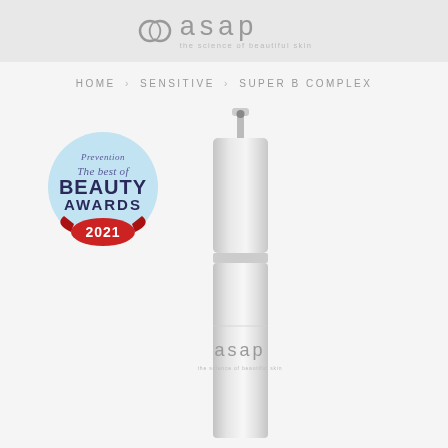[Figure (logo): asap skincare logo with circular intertwined icon and tagline 'the science of beautiful skin']
HOME > SENSITIVE > SUPER B COMPLEX
[Figure (photo): asap skincare product bottle (Super B Complex) - silver/white pump dispenser bottle with asap branding, alongside a Prevention Beauty Awards 2021 badge]